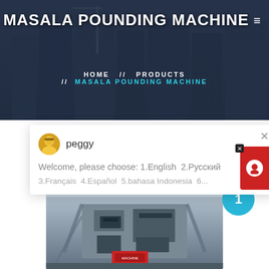MASALA POUNDING MACHINE
[Figure (screenshot): Website hero banner with dark overlay on city/construction background]
HOME // PRODUCTS // MASALA POUNDING MACHINE
peggy
Welcome, please choose: 1.English  2.Русский
3.Français  4.Español  5.bahasa Indonesia  6...
[Figure (photo): Industrial masala pounding machine equipment photo]